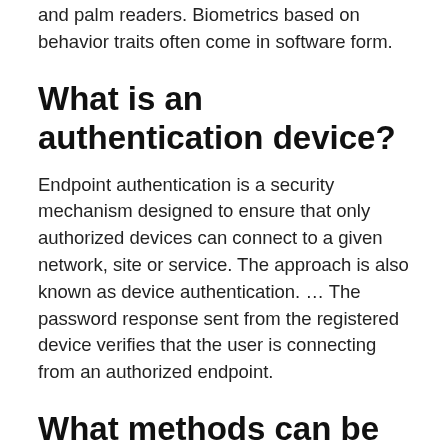and palm readers. Biometrics based on behavior traits often come in software form.
What is an authentication device?
Endpoint authentication is a security mechanism designed to ensure that only authorized devices can connect to a given network, site or service. The approach is also known as device authentication. … The password response sent from the registered device verifies that the user is connecting from an authorized endpoint.
What methods can be used to authenticate a user?